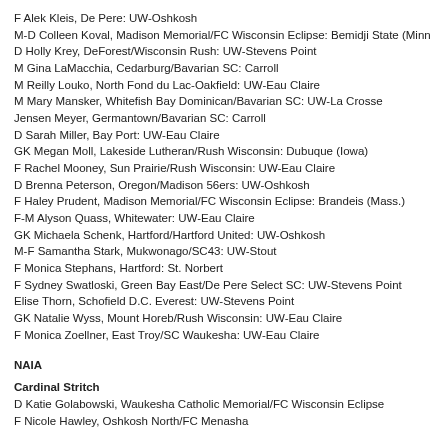F Alek Kleis, De Pere: UW-Oshkosh
M-D Colleen Koval, Madison Memorial/FC Wisconsin Eclipse: Bemidji State (Minn
D Holly Krey, DeForest/Wisconsin Rush: UW-Stevens Point
M Gina LaMacchia, Cedarburg/Bavarian SC: Carroll
M Reilly Louko, North Fond du Lac-Oakfield: UW-Eau Claire
M Mary Mansker, Whitefish Bay Dominican/Bavarian SC: UW-La Crosse
Jensen Meyer, Germantown/Bavarian SC: Carroll
D Sarah Miller, Bay Port: UW-Eau Claire
GK Megan Moll, Lakeside Lutheran/Rush Wisconsin: Dubuque (Iowa)
F Rachel Mooney, Sun Prairie/Rush Wisconsin: UW-Eau Claire
D Brenna Peterson, Oregon/Madison 56ers: UW-Oshkosh
F Haley Prudent, Madison Memorial/FC Wisconsin Eclipse: Brandeis (Mass.)
F-M Alyson Quass, Whitewater: UW-Eau Claire
GK Michaela Schenk, Hartford/Hartford United: UW-Oshkosh
M-F Samantha Stark, Mukwonago/SC43: UW-Stout
F Monica Stephans, Hartford: St. Norbert
F Sydney Swatloski, Green Bay East/De Pere Select SC: UW-Stevens Point
Elise Thorn, Schofield D.C. Everest: UW-Stevens Point
GK Natalie Wyss, Mount Horeb/Rush Wisconsin: UW-Eau Claire
F Monica Zoellner, East Troy/SC Waukesha: UW-Eau Claire
NAIA
Cardinal Stritch
D Katie Golabowski, Waukesha Catholic Memorial/FC Wisconsin Eclipse
F Nicole Hawley, Oshkosh North/FC Menasha